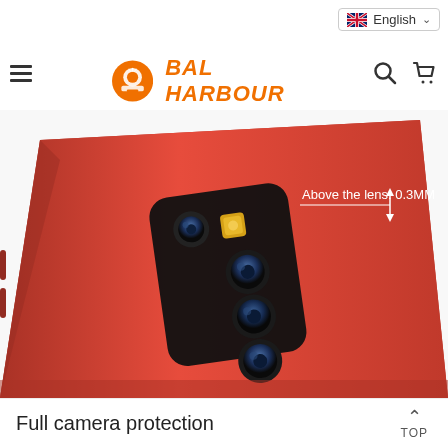BAL HARBOUR — English language selector, hamburger menu, search, cart icons
[Figure (photo): Close-up photo of the back of a red smartphone case showing the camera cutout area with multiple camera lenses visible. A white annotation line points to the top of the lens area with text 'Above the lens: 0.3MM']
Full camera protection
TOP